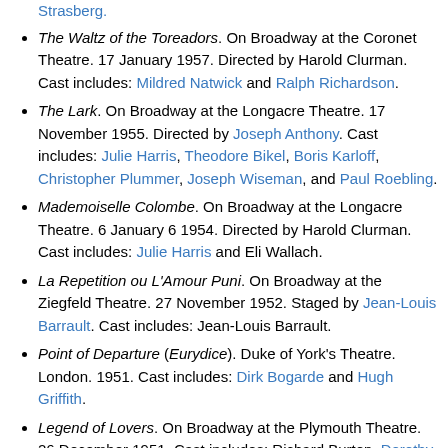Strasberg. [link: Strasberg]
The Waltz of the Toreadors. On Broadway at the Coronet Theatre. 17 January 1957. Directed by Harold Clurman. Cast includes: Mildred Natwick and Ralph Richardson.
The Lark. On Broadway at the Longacre Theatre. 17 November 1955. Directed by Joseph Anthony. Cast includes: Julie Harris, Theodore Bikel, Boris Karloff, Christopher Plummer, Joseph Wiseman, and Paul Roebling.
Mademoiselle Colombe. On Broadway at the Longacre Theatre. 6 January 6 1954. Directed by Harold Clurman. Cast includes: Julie Harris and Eli Wallach.
La Repetition ou L'Amour Puni. On Broadway at the Ziegfeld Theatre. 27 November 1952. Staged by Jean-Louis Barrault. Cast includes: Jean-Louis Barrault.
Point of Departure (Eurydice). Duke of York's Theatre. London. 1951. Cast includes: Dirk Bogarde and Hugh Griffith.
Legend of Lovers. On Broadway at the Plymouth Theatre. 26 December 1951. Cast includes: Richard Burton, Dorothy McGuire, and Hugh Griffith.
Ring Round the Moon. On Broadway at the martin Beck...